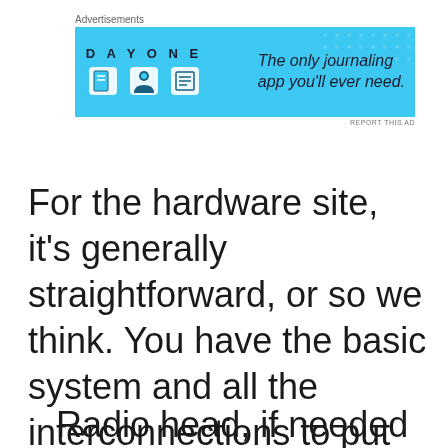[Figure (screenshot): Advertisement banner for Day One journaling app with blue background, app icons, and tagline 'The only journaling app you'll ever need.']
For the hardware site, it's generally straightforward, or so we think. You have the basic system and all the interconnections to put them together. From a high level, it looks easy. Let's look at a cell site.
Radio head, if needed